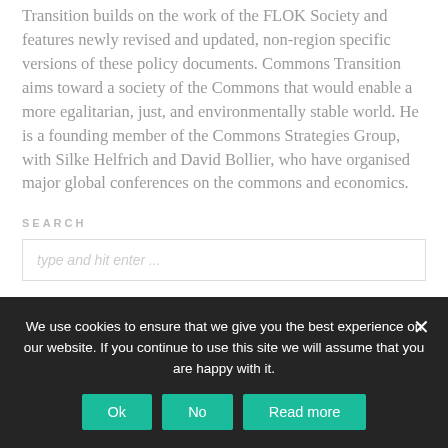Transition builds on the work of the FLOK Society and features newly revised and updated, non-region specific versions of these policy documents. Commons Transition aims toward a society of the Commons that would enable a more egalitarian, just, and environmentally stable world. He is a founding member of the Commons Strategies Group, with Silke Helfrich and David Bollier, who have organised major global conferences on the commons and economics.
SEARCH
type and hit enter ...
We use cookies to ensure that we give you the best experience on our website. If you continue to use this site we will assume that you are happy with it.